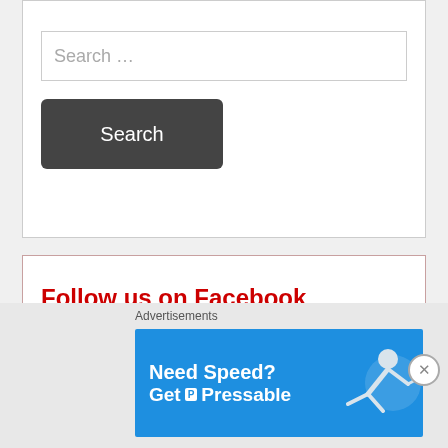[Figure (screenshot): Search widget with text input showing 'Search ...' placeholder and a dark Search button]
Follow us on Facebook
[Figure (screenshot): Facebook widget content area (empty)]
Follow us on Twitter
[Figure (screenshot): Twitter widget showing 'Tweets from @Nyamilee' embed]
Advertisements
[Figure (infographic): Advertisement banner: Need Speed? Get P Pressable — blue background with a person flying horizontally]